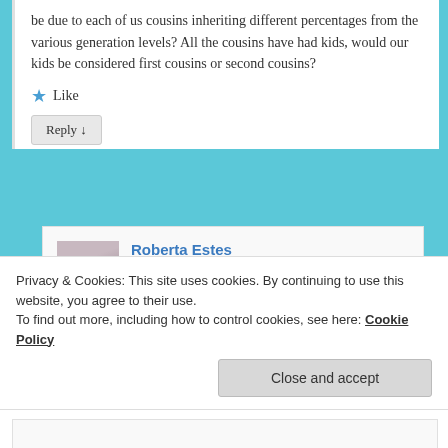be due to each of us cousins inheriting different percentages from the various generation levels? All the cousins have had kids, would our kids be considered first cousins or second cousins?
★ Like
Reply ↓
Roberta Estes on April 26, 2018 at 12:55 pm said:
DNA recombined in various unpredictable ways. You relationships would be both.
Privacy & Cookies: This site uses cookies. By continuing to use this website, you agree to their use.
To find out more, including how to control cookies, see here: Cookie Policy
Close and accept